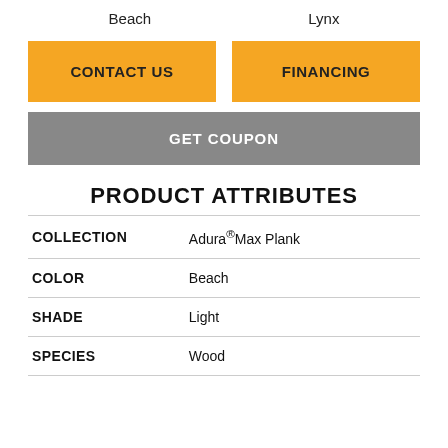Beach
Lynx
CONTACT US
FINANCING
GET COUPON
PRODUCT ATTRIBUTES
|  |  |
| --- | --- |
| COLLECTION | Adura®Max Plank |
| COLOR | Beach |
| SHADE | Light |
| SPECIES | Wood |